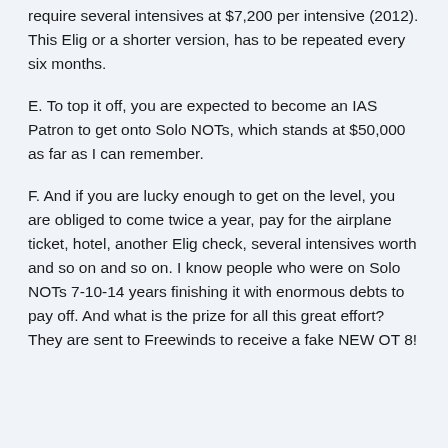require several intensives at $7,200 per intensive (2012). This Elig or a shorter version, has to be repeated every six months.
E. To top it off, you are expected to become an IAS Patron to get onto Solo NOTs, which stands at $50,000 as far as I can remember.
F. And if you are lucky enough to get on the level, you are obliged to come twice a year, pay for the airplane ticket, hotel, another Elig check, several intensives worth and so on and so on. I know people who were on Solo NOTs 7-10-14 years finishing it with enormous debts to pay off. And what is the prize for all this great effort? They are sent to Freewinds to receive a fake NEW OT 8!